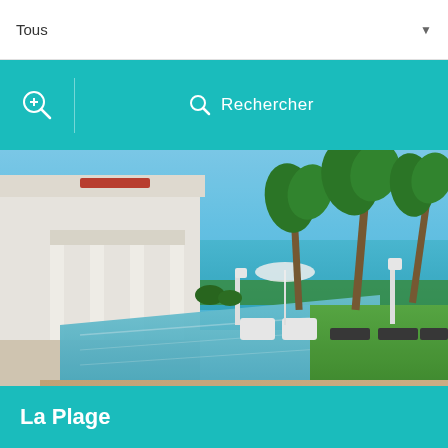Tous
Rechercher
[Figure (photo): Luxury beachfront villa with infinity swimming pool, white columns, palm trees, ocean view, sun loungers, and green lawn under blue sky]
La Plage